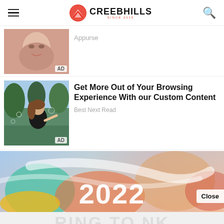CREEBHILLS SINCE 2015
Appurse
[Figure (photo): Close-up photo of a woman's face (advertisement thumbnail) with AD badge]
Get More Out of Your Browsing Experience With our Custom Content
Best Next Read
[Figure (photo): Photo of a woman outdoors with trees and bubbles (advertisement thumbnail) with AD badge]
[Figure (infographic): Colorful banner ad with abstract shapes and year 2022 in large text, with a Close button]
ProfitSence.